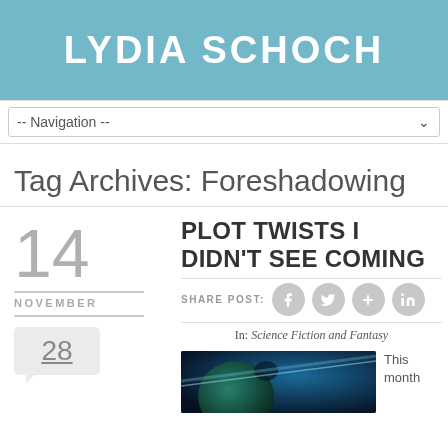LYDIA SCHOCH
-- Navigation --
Tag Archives: Foreshadowing
PLOT TWISTS I DIDN'T SEE COMING
14 NOVEMBER
SHARE POST:
28
In: Science Fiction and Fantasy
This month